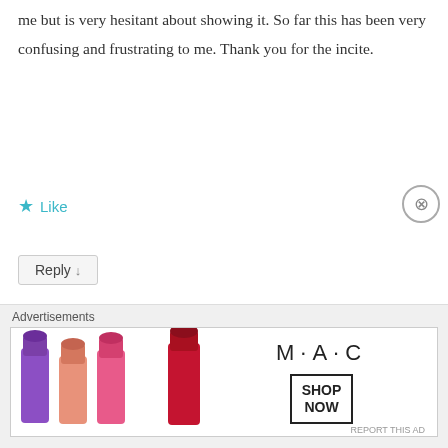me but is very hesitant about showing it. So far this has been very confusing and frustrating to me. Thank you for the incite.
Like
Reply ↓
Mabel Kwong on 17 July 2017 at 8:30 PM said:
Sounds like you grew up in a family that were very open with their love for each other. It's a good thing, a great feeling to be acknowledged and feel like you matter – and
Advertisements
[Figure (photo): MAC cosmetics advertisement banner showing colorful lipsticks and the MAC logo with SHOP NOW button]